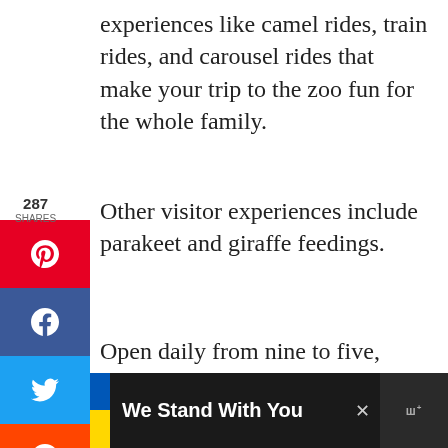experiences like camel rides, train rides, and carousel rides that make your trip to the zoo fun for the whole family.
Other visitor experiences include parakeet and giraffe feedings.
Open daily from nine to five, plan your visit to this top attraction for today or this weekend.
[Figure (infographic): Social sharing sidebar with share count 287 SHARES, Pinterest (red), Facebook (dark blue), Twitter (light blue), Reddit (orange), Email (green) buttons]
[Figure (infographic): Like and share widget: teal heart button with count 367, and a share icon button below]
[Figure (infographic): Ad banner at bottom: Ukrainian flag colors (blue and yellow), text 'We Stand With You', close X button, logo area]